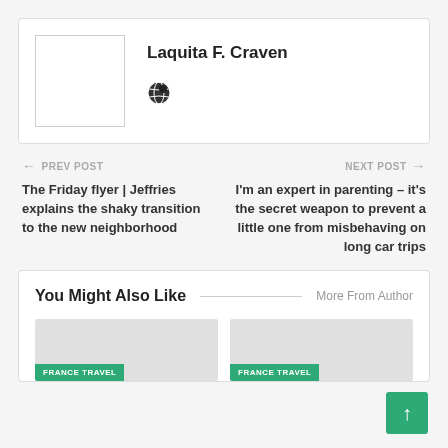Laquita F. Craven
[Figure (illustration): Globe/world icon in dark color]
← PREV POST
The Friday flyer | Jeffries explains the shaky transition to the new neighborhood
NEXT POST →
I'm an expert in parenting – it's the secret weapon to prevent a little one from misbehaving on long car trips
You Might Also Like
More From Author
[Figure (photo): Article thumbnail with FRANCE TRAVEL tag]
[Figure (photo): Article thumbnail with FRANCE TRAVEL tag]